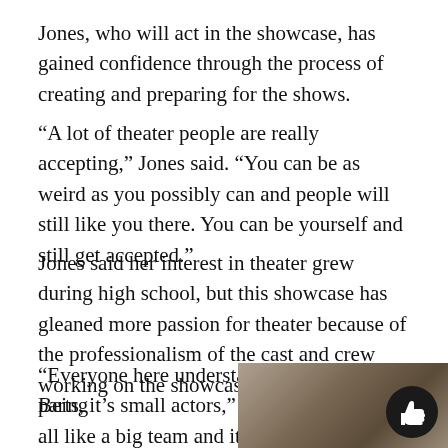Jones, who will act in the showcase, has gained confidence through the process of creating and preparing for the shows.
“A lot of theater people are really accepting,” Jones said. “You can be as weird as you possibly can and people will still like you there. You can be yourself and still get accepted.”
Jones said her interest in theater grew during high school, but this showcase has gleaned more passion for theater because of the professionalism of the cast and crew working on the showcase.
“Everyone here understands it’s not small parts, it’s small actors,” Jones said. “We’re all like a big team and it’s all part of the fun.”
Being
[Figure (photo): Partial photo visible at bottom right of page, appears to show an interior scene with warm lighting]